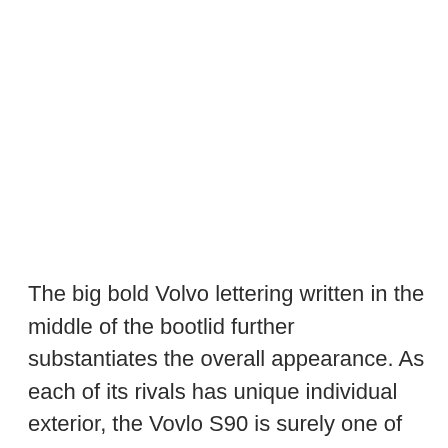The big bold Volvo lettering written in the middle of the bootlid further substantiates the overall appearance. As each of its rivals has unique individual exterior, the Vovlo S90 is surely one of the best the segment has on offer as the tagline ‘Queen on the Wheels’ suits aptly.